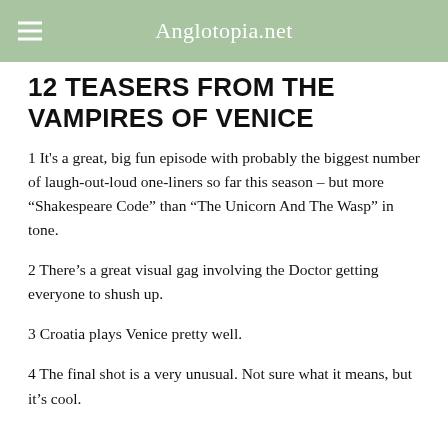Anglotopia.net
12 TEASERS FROM THE VAMPIRES OF VENICE
1 It's a great, big fun episode with probably the biggest number of laugh-out-loud one-liners so far this season – but more “Shakespeare Code” than “The Unicorn And The Wasp” in tone.
2 There’s a great visual gag involving the Doctor getting everyone to shush up.
3 Croatia plays Venice pretty well.
4 The final shot is a very unusual. Not sure what it means, but it’s cool.